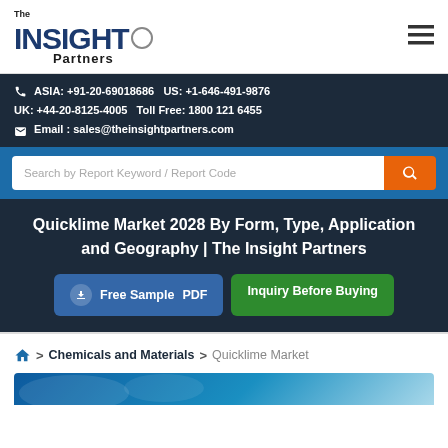The Insight Partners | ASIA: +91-20-69018686  US: +1-646-491-9876  UK: +44-20-8125-4005  Toll Free: 1800 121 6455  Email: sales@theinsightpartners.com
Quicklime Market 2028 By Form, Type, Application and Geography | The Insight Partners
Free Sample PDF  Inquiry Before Buying
> Chemicals and Materials > Quicklime Market